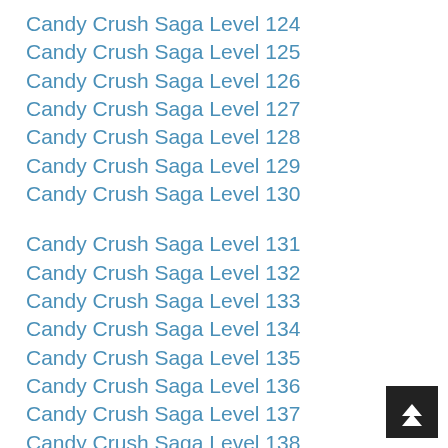Candy Crush Saga Level 124
Candy Crush Saga Level 125
Candy Crush Saga Level 126
Candy Crush Saga Level 127
Candy Crush Saga Level 128
Candy Crush Saga Level 129
Candy Crush Saga Level 130
Candy Crush Saga Level 131
Candy Crush Saga Level 132
Candy Crush Saga Level 133
Candy Crush Saga Level 134
Candy Crush Saga Level 135
Candy Crush Saga Level 136
Candy Crush Saga Level 137
Candy Crush Saga Level 138
Candy Crush Saga Level 139
Candy Crush Saga Level 140